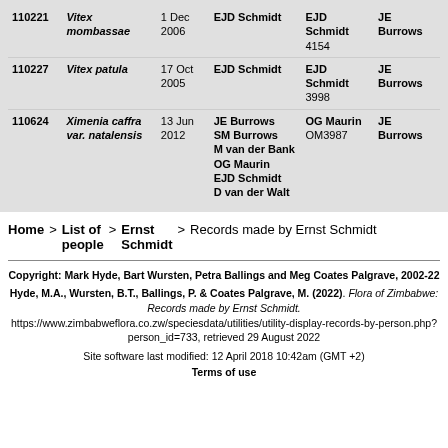| ID | Name | Date | Collector(s) | Reference | Det. |
| --- | --- | --- | --- | --- | --- |
| 110221 | Vitex mombassae | 1 Dec 2006 | EJD Schmidt | EJD Schmidt 4154 | JE Burrows |
| 110227 | Vitex patula | 17 Oct 2005 | EJD Schmidt | EJD Schmidt 3998 | JE Burrows |
| 110624 | Ximenia caffra var. natalensis | 13 Jun 2012 | JE Burrows SM Burrows M van der Bank OG Maurin EJD Schmidt D van der Walt | OG Maurin OM3987 | JE Burrows |
Home > List of people > Ernst Schmidt > Records made by Ernst Schmidt
Copyright: Mark Hyde, Bart Wursten, Petra Ballings and Meg Coates Palgrave, 2002-22
Hyde, M.A., Wursten, B.T., Ballings, P. & Coates Palgrave, M. (2022). Flora of Zimbabwe: Records made by Ernst Schmidt. https://www.zimbabweflora.co.zw/speciesdata/utilities/utility-display-records-by-person.php?person_id=733, retrieved 29 August 2022
Site software last modified: 12 April 2018 10:42am (GMT +2) Terms of use